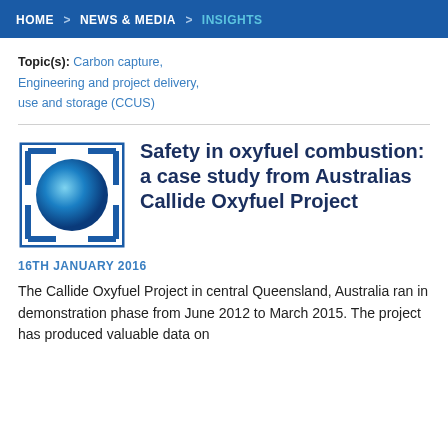HOME > NEWS & MEDIA > INSIGHTS
Topic(s): Carbon capture, Engineering and project delivery, use and storage (CCUS)
Safety in oxyfuel combustion: a case study from Australias Callide Oxyfuel Project
16TH JANUARY 2016
The Callide Oxyfuel Project in central Queensland, Australia ran in demonstration phase from June 2012 to March 2015. The project has produced valuable data on